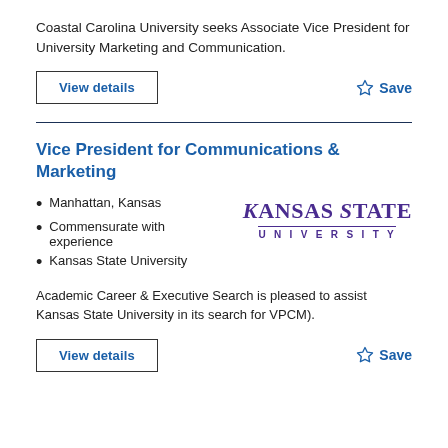Coastal Carolina University seeks Associate Vice President for University Marketing and Communication.
View details
Save
Vice President for Communications & Marketing
Manhattan, Kansas
Commensurate with experience
Kansas State University
[Figure (logo): Kansas State University logo with purple text]
Academic Career & Executive Search is pleased to assist Kansas State University in its search for VPCM).
View details
Save